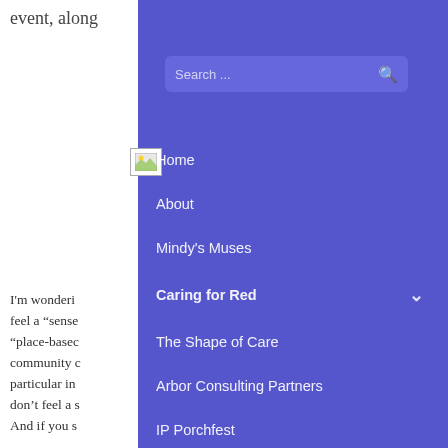event, along
[Figure (photo): Small image thumbnail placeholder]
Search ...
Home
About
Mindy's Muses
Caring for Red
The Shape of Care
Arbor Consulting Partners
IP Porchfest
I'm wonderi
feel a “sense
“place-basec
community c
particular in
don't feel a s
And if you s